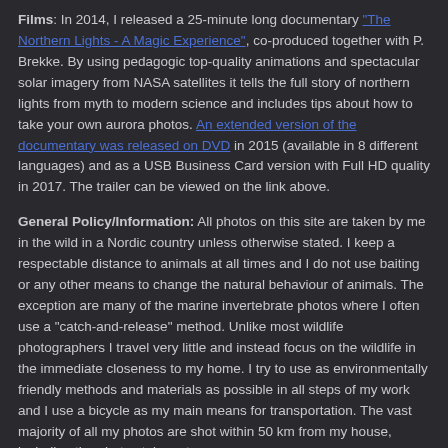Films: In 2014, I released a 25-minute long documentary "The Northern Lights - A Magic Experience", co-produced together with P. Brekke. By using pedagogic top-quality animations and spectacular solar imagery from NASA satellites it tells the full story of northern lights from myth to modern science and includes tips about how to take your own aurora photos. An extended version of the documentary was released on DVD in 2015 (available in 8 different languages) and as a USB Business Card version with Full HD quality in 2017. The trailer can be viewed on the link above.
General Policy/Information: All photos on this site are taken by me in the wild in a Nordic country unless otherwise stated. I keep a respectable distance to animals at all times and I do not use baiting or any other means to change the natural behaviour of animals. The exception are many of the marine invertebrate photos where I often use a "catch-and-release" method. Unlike most wildlife photographers I travel very little and instead focus on the wildlife in the immediate closeness to my home. I try to use as environmentally friendly methods and materials as possible in all steps of my work and I use a bicycle as my main means for transportation. The vast majority of all my photos are shot within 50 km from my house, including the photos taken at sea.